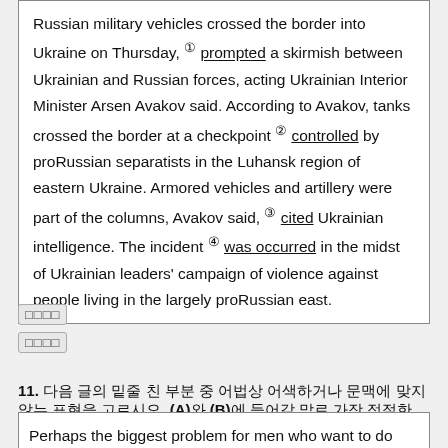Russian military vehicles crossed the border into Ukraine on Thursday, ① prompted a skirmish between Ukrainian and Russian forces, acting Ukrainian Interior Minister Arsen Avakov said. According to Avakov, tanks crossed the border at a checkpoint ② controlled by proRussian separatists in the Luhansk region of eastern Ukraine. Armored vehicles and artillery were part of the columns, Avakov said, ③ cited Ukrainian intelligence. The incident ④ was occurred in the midst of Ukrainian leaders' campaign of violence against people living in the largely proRussian east.
□□□□
□□□□
11. 다음 글의 밑줄 친 부분 중 어법상 어색하거나 문맥에 맞지 않는 표현을 고르시오. (A)와 (B)에 들어갈 말로 가장 적절한 것은?
Perhaps the biggest problem for men who want to do more with their children is that employers rarely make it easy for them. According to a survey of 1,000 senior executives...